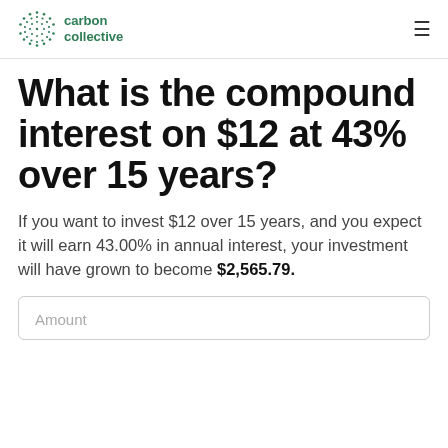carbon collective
What is the compound interest on $12 at 43% over 15 years?
If you want to invest $12 over 15 years, and you expect it will earn 43.00% in annual interest, your investment will have grown to become $2,565.79.
Amount